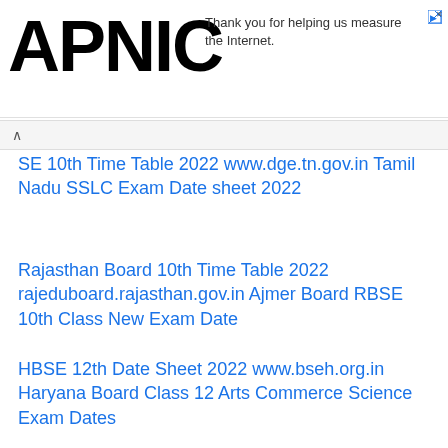APNIC — Thank you for helping us measure the Internet.
SE 10th Time Table 2022 www.dge.tn.gov.in Tamil Nadu SSLC Exam Date sheet 2022
Rajasthan Board 10th Time Table 2022 rajeduboard.rajasthan.gov.in Ajmer Board RBSE 10th Class New Exam Date
HBSE 12th Date Sheet 2022 www.bseh.org.in Haryana Board Class 12 Arts Commerce Science Exam Dates
Nagaland HSSLC Time Table 2022 nbsenagaland.com NBSE 12th Class Routine Exam Date Sheet